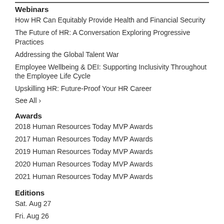Webinars
How HR Can Equitably Provide Health and Financial Security
The Future of HR: A Conversation Exploring Progressive Practices
Addressing the Global Talent War
Employee Wellbeing & DEI: Supporting Inclusivity Throughout the Employee Life Cycle
Upskilling HR: Future-Proof Your HR Career
See All ›
Awards
2018 Human Resources Today MVP Awards
2017 Human Resources Today MVP Awards
2019 Human Resources Today MVP Awards
2020 Human Resources Today MVP Awards
2021 Human Resources Today MVP Awards
Editions
Sat. Aug 27
Fri. Aug 26
Thu. Aug 25
Wed. Aug 24